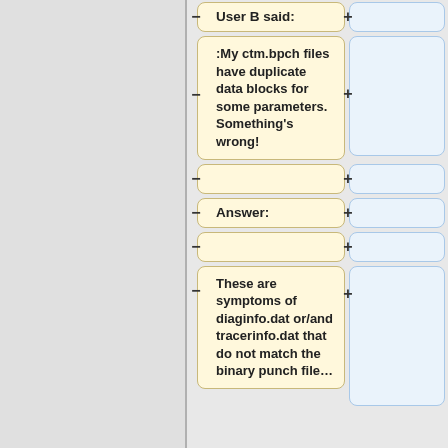User B said:
:My ctm.bpch files have duplicate data blocks for some parameters. Something's wrong!
Answer:
These are symptoms of diaginfo.dat or/and tracerinfo.dat that do not match the binary punch file…